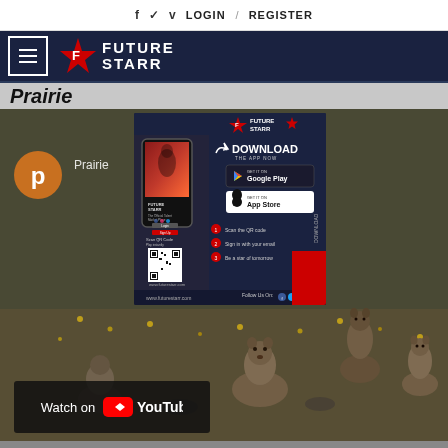f  ✓  v  LOGIN  /  REGISTER
[Figure (logo): FutureStarr logo with hamburger menu on dark navy background]
Prairie
[Figure (screenshot): FutureStarr app download popup overlay showing phone mockup, DOWNLOAD THE APP NOW, Google Play and App Store buttons, QR code, steps 1-3, www.futurestarr.com]
[Figure (photo): Prairie dogs / meerkats social life video thumbnail with YouTube watch button overlay. Shows multiple prairie dogs standing upright in a grassy habitat with yellow flowers.]
Prairie  meerkats - Social Life
Watch on YouTube